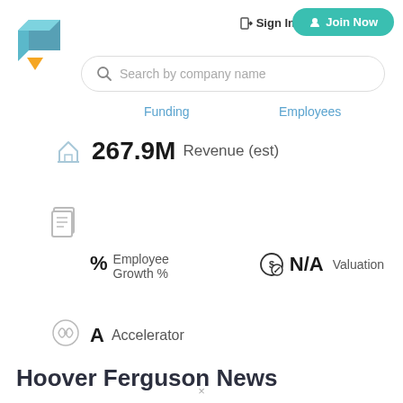[Figure (logo): Stylized geometric logo with teal/blue cube and orange triangle shape]
Sign In
Join Now
Search by company name
Funding
Employees
267.9M  Revenue (est)
% Employee Growth %
N/A  Valuation
A  Accelerator
Hoover Ferguson News